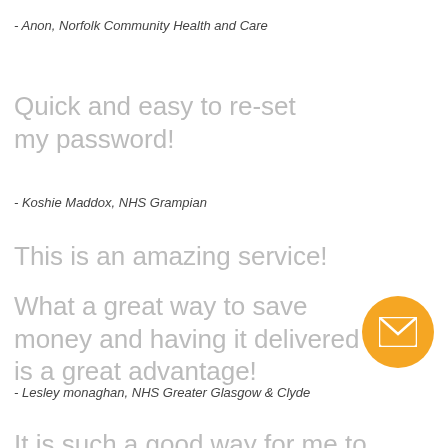- Anon, Norfolk Community Health and Care
Quick and easy to re-set my password!
- Koshie Maddox, NHS Grampian
This is an amazing service!
What a great way to save money and having it delivered is a great advantage!
- Lesley monaghan, NHS Greater Glasgow & Clyde
It is such a good way for me to find